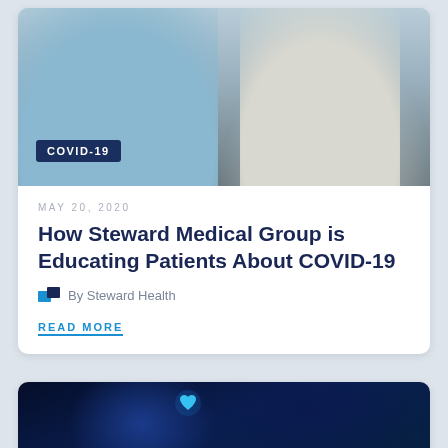[Figure (photo): A patient in a light blue top sitting on an exam table with a doctor in a white coat in a medical office. A dark navy badge reads COVID-19 in the lower left of the photo.]
MAY 20, 2020
How Steward Medical Group is Educating Patients About COVID-19
By Steward Health
READ MORE
[Figure (photo): A dark blue digital/technology themed image with a glowing blue heart icon and digital circuit patterns, partially visible at the bottom of the page.]